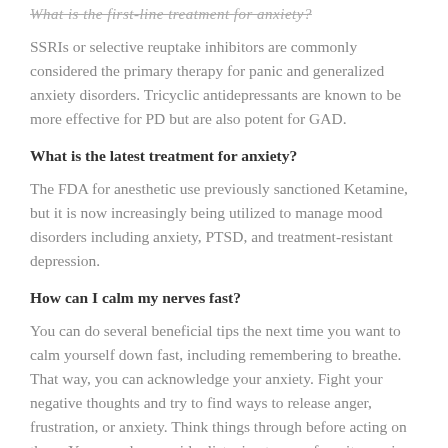SSRIs or selective reuptake inhibitors are commonly considered the primary therapy for panic and generalized anxiety disorders. Tricyclic antidepressants are known to be more effective for PD but are also potent for GAD.
What is the latest treatment for anxiety?
The FDA for anesthetic use previously sanctioned Ketamine, but it is now increasingly being utilized to manage mood disorders including anxiety, PTSD, and treatment-resistant depression.
How can I calm my nerves fast?
You can do several beneficial tips the next time you want to calm yourself down fast, including remembering to breathe. That way, you can acknowledge your anxiety. Fight your negative thoughts and try to find ways to release anger, frustration, or anxiety. Think things through before acting on them. You can also consider listening to your favorite music.